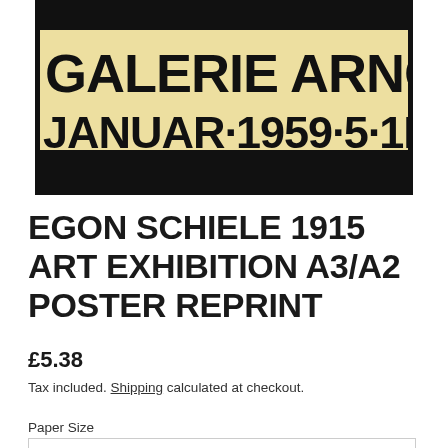[Figure (photo): Egon Schiele 1915 exhibition poster image showing bold black text 'GALERIE ARNOT JANUAR 1915 9-5-1K' on a cream/tan background with orange/red color at the top]
EGON SCHIELE 1915 ART EXHIBITION A3/A2 POSTER REPRINT
£5.38
Tax included. Shipping calculated at checkout.
Paper Size